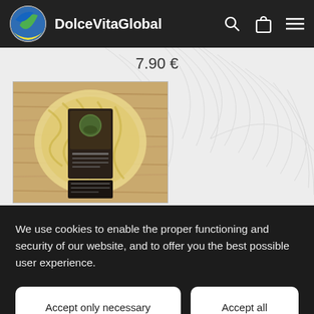DolceVitaGlobal
7.90 €
[Figure (photo): Product photo: a bag of pasta with a dark label on a wooden background]
We use cookies to enable the proper functioning and security of our website, and to offer you the best possible user experience.
Accept only necessary
Accept all